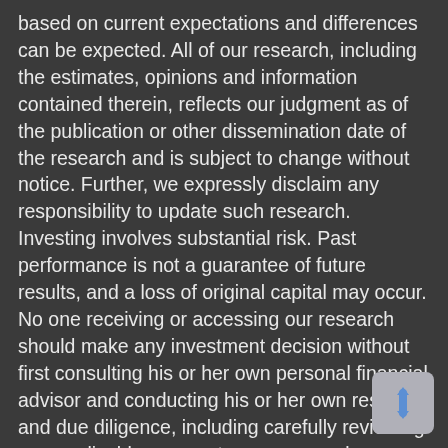based on current expectations and differences can be expected. All of our research, including the estimates, opinions and information contained therein, reflects our judgment as of the publication or other dissemination date of the research and is subject to change without notice. Further, we expressly disclaim any responsibility to update such research. Investing involves substantial risk. Past performance is not a guarantee of future results, and a loss of original capital may occur. No one receiving or accessing our research should make any investment decision without first consulting his or her own personal financial advisor and conducting his or her own research and due diligence, including carefully reviewing any applicable prospectuses, press releases, reports and other public filings of the issuer of any securities being considered. None of the information presented should be construed as an offer to sell or buy any particular security. As always, use your best judgment when investing.